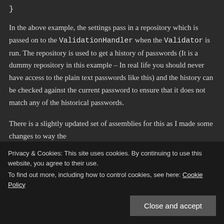}
In the above example, the settings pass in a repository which is passed on to the ValidationHandler when the Validator is run. The repository is used to get a history of passwords (It is a dummy repository in this example – In real life you should never have access to the plain text passwords like this) and the history can be checked against the current password to ensure that it does not match any of the historical passwords.
There is a slightly updated set of assemblies for this as I made some changes to way the
Privacy & Cookies: This site uses cookies. By continuing to use this website, you agree to their use.
To find out more, including how to control cookies, see here: Cookie Policy
Close and accept